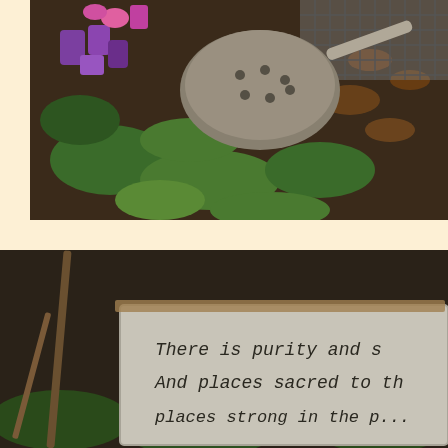[Figure (photo): Outdoor scene showing purple and pink plastic items (possibly children's toys or containers) alongside a rusty metal colander/strainer and a wire mesh basket, surrounded by green leafy plants and fallen brown leaves on dark soil.]
[Figure (photo): Outdoor scene showing a handwritten sign or plaque with text partially visible: 'There is purity and s' on first line, 'And places sacred to th' on second line, 'places strong in the p...' on third line (cut off). The sign is grey/stone-colored, set against a wooded background with sticks and green ground cover.]